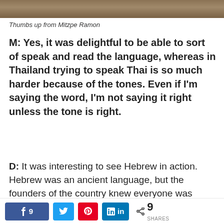[Figure (photo): Top strip of a photograph, showing rocky/desert landscape from Mitzpe Ramon]
Thumbs up from Mitzpe Ramon
M: Yes, it was delightful to be able to sort of speak and read the language, whereas in Thailand trying to speak Thai is so much harder because of the tones. Even if I'm saying the word, I'm not saying it right unless the tone is right.
D: It was interesting to see Hebrew in action. Hebrew was an ancient language, but the founders of the country knew everyone was coming to Israel from all over the world and decided they needed a single language to bond everybody. So now we have Modern Hebrew.
M: For me, the biggest thing I missed was being
Share buttons: Facebook 9, Twitter, Pinterest, LinkedIn | 9 SHARES